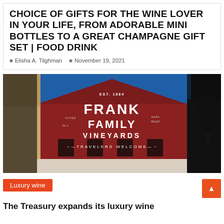CHOICE OF GIFTS FOR THE WINE LOVER IN YOUR LIFE, FROM ADORABLE MINI BOTTLES TO A GREAT CHAMPAGNE GIFT SET | FOOD DRINK
Elisha A. Tilghman   November 19, 2021
[Figure (photo): Exterior of Frank Family Vineyards building — a red barn-style structure with white text reading EST. 1884 FRANK FAMILY VINEYARDS NAPA VALLEY CA. VOTED No.1 TRAVELERS WELCOME with arrows. Blue sky background and bare trees visible.]
Luxury wine
The Treasury expands its luxury wine